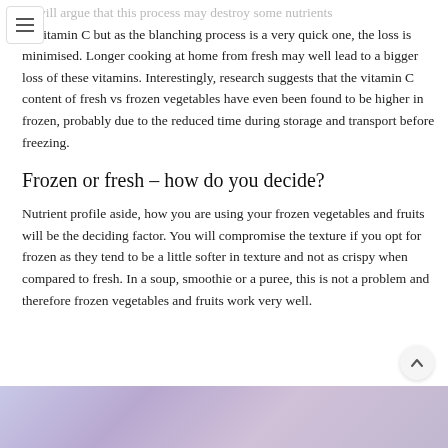ly will argue that this process may destroy some nutrients as vitamin C but as the blanching process is a very quick one, the loss is minimised. Longer cooking at home from fresh may well lead to a bigger loss of these vitamins. Interestingly, research suggests that the vitamin C content of fresh vs frozen vegetables have even been found to be higher in frozen, probably due to the reduced time during storage and transport before freezing.
Frozen or fresh – how do you decide?
Nutrient profile aside, how you are using your frozen vegetables and fruits will be the deciding factor. You will compromise the texture if you opt for frozen as they tend to be a little softer in texture and not as crispy when compared to fresh. In a soup, smoothie or a puree, this is not a problem and therefore frozen vegetables and fruits work very well.
[Figure (photo): Partial view of a blurred purple/blue toned image at the bottom of the page, likely showing frozen vegetables or a smoothie]